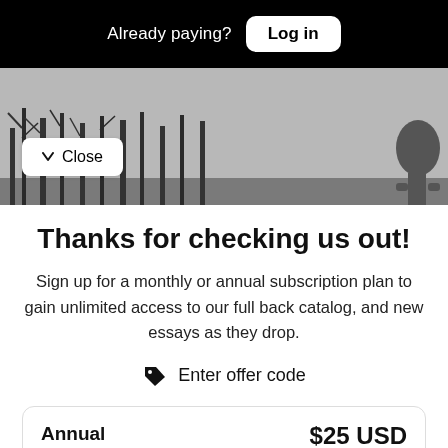Already paying? Log in
[Figure (photo): Black and white photo of bare winter trees against a gray sky, with a partial silhouette of a figure on the right edge.]
Close
Thanks for checking us out!
Sign up for a monthly or annual subscription plan to gain unlimited access to our full back catalog, and new essays as they drop.
Enter offer code
Annual Subscription
$25 USD per year
Access to all articles past and present. Renews